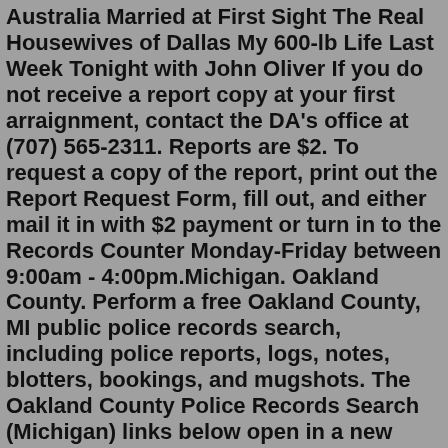Australia Married at First Sight The Real Housewives of Dallas My 600-lb Life Last Week Tonight with John Oliver If you do not receive a report copy at your first arraignment, contact the DA's office at (707) 565-2311. Reports are $2. To request a copy of the report, print out the Report Request Form, fill out, and either mail it in with $2 payment or turn in to the Records Counter Monday-Friday between 9:00am - 4:00pm.Michigan. Oakland County. Perform a free Oakland County, MI public police records search, including police reports, logs, notes, blotters, bookings, and mugshots. The Oakland County Police Records Search (Michigan) links below open in a new window and take you to third party websites that provide access to Oakland County public records. For emergencies, please call 911. For non-emergencies you may also call (559) 621-7000. Types of incidents that can be reported online: Custody Order Violation. Fraud and Identity Theft. Harassing Phone Calls – excluding threats of imminent harm or death. Hit & Run – Property